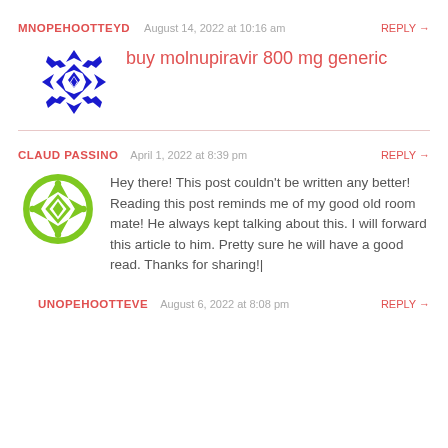MNOPEHOOTTEYD  August 14, 2022 at 10:16 am  REPLY →
buy molnupiravir 800 mg generic
CLAUD PASSINO  April 1, 2022 at 8:39 pm  REPLY →
Hey there! This post couldn't be written any better! Reading this post reminds me of my good old room mate! He always kept talking about this. I will forward this article to him. Pretty sure he will have a good read. Thanks for sharing!|
UNOPEHOOTTEVE  August 6, 2022 at 8:08 pm  REPLY →